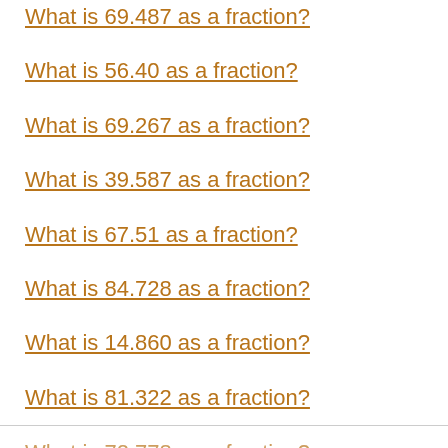What is 69.487 as a fraction?
What is 56.40 as a fraction?
What is 69.267 as a fraction?
What is 39.587 as a fraction?
What is 67.51 as a fraction?
What is 84.728 as a fraction?
What is 14.860 as a fraction?
What is 81.322 as a fraction?
What is 72.778 as a fraction?